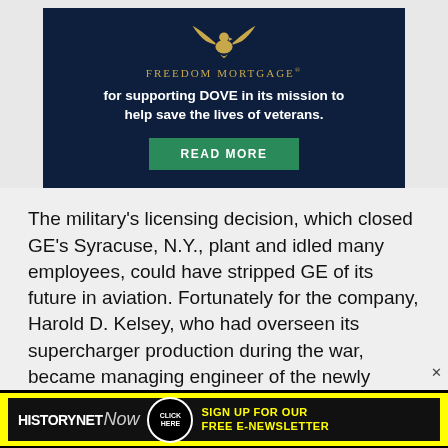[Figure (infographic): Freedom Mortgage advertisement banner on dark navy background with golden eagle logo, text 'for supporting DOVE in its mission to help save the lives of veterans.' and a green READ MORE button.]
The military's licensing decision, which closed GE's Syracuse, N.Y., plant and idled many employees, could have stripped GE of its future in aviation. Fortunately for the company, Harold D. Kelsey, who had overseen its supercharger production during the war, became managing engineer of the newly named Aircraft Gas Turbine Division in January 1946. Kelsey figured that although the military could
[Figure (infographic): HistoryNet Now advertisement banner on yellow background with black inner panel. Text reads HISTORYNET Now CLICK HERE SIGN UP FOR OUR FREE E-NEWSLETTER.]